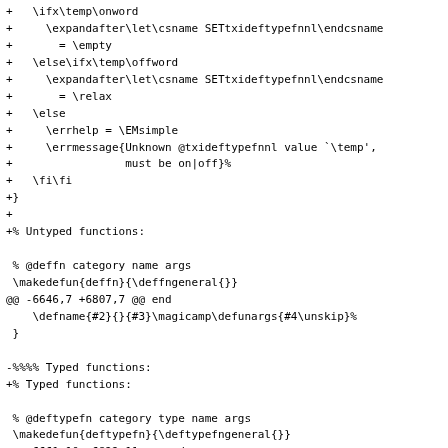diff/patch code snippet showing TeX macro definitions for txideftypefnnl, deffn, deftypefn
[Figure (other): Source code diff showing LaTeX/TeX macro definitions]